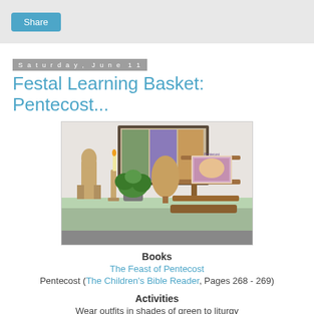Share
Saturday, June 11
Festal Learning Basket: Pentecost...
[Figure (photo): A wooden shelf display with items including a wooden angel figurine, a candle holder, green plants in a glass jar, a wooden tree shape, and a multi-tier wooden stand holding a colorful children's book about Pentecost. A framed colorful artwork is visible in the background.]
Books
The Feast of Pentecost
Pentecost (The Children's Bible Reader, Pages 268 - 269)
Activities
Wear outfits in shades of green to liturgy